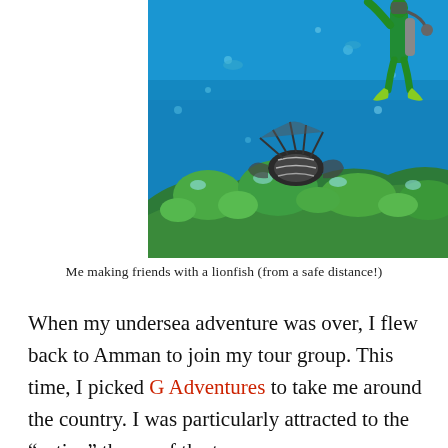[Figure (photo): Underwater photo showing a scuba diver in the upper right corner observing a lionfish near a coral reef. The water is bright blue, with green coral and a large spiny lionfish in the center-left of the frame.]
Me making friends with a lionfish (from a safe distance!)
When my undersea adventure was over, I flew back to Amman to join my tour group. This time, I picked G Adventures to take me around the country. I was particularly attracted to the “active” theme of the tour.